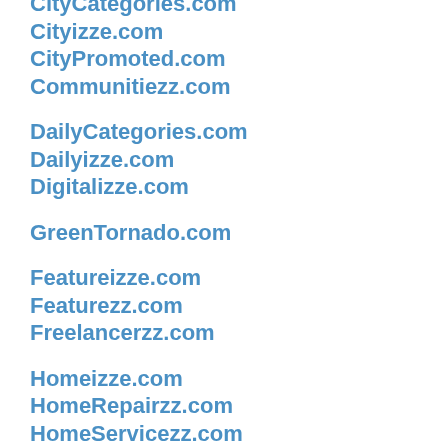CityCategories.com
Cityizze.com
CityPromoted.com
Communitiezz.com
DailyCategories.com
Dailyizze.com
Digitalizze.com
GreenTornado.com
Featureizze.com
Featurezz.com
Freelancerzz.com
Homeizze.com
HomeRepairzz.com
HomeServicezz.com